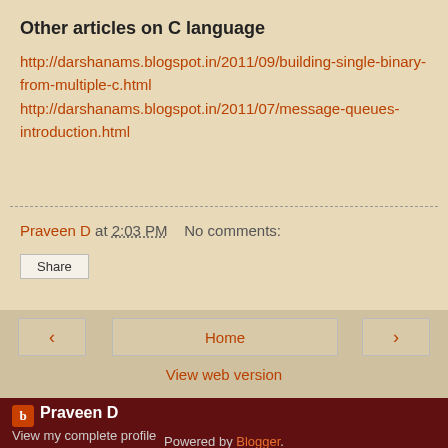Other articles on C language
http://darshanams.blogspot.in/2011/09/building-single-binary-from-multiple-c.html
http://darshanams.blogspot.in/2011/07/message-queues-introduction.html
Praveen D at 2:03 PM    No comments:
Share
< Home >
View web version
Praveen D
View my complete profile
Powered by Blogger.